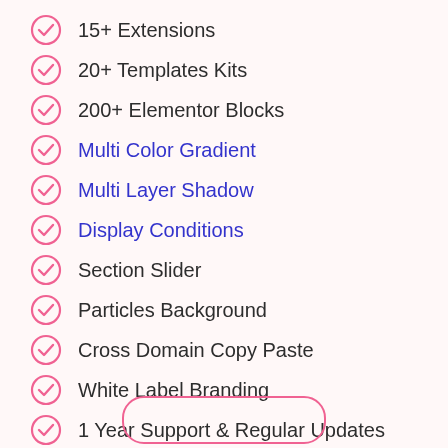15+ Extensions
20+ Templates Kits
200+ Elementor Blocks
Multi Color Gradient
Multi Layer Shadow
Display Conditions
Section Slider
Particles Background
Cross Domain Copy Paste
White Label Branding
1 Year Support & Regular Updates
25% Renewal Discount